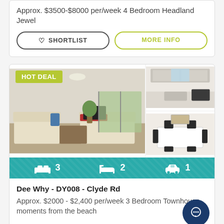Approx. $3500-$8000 per/week 4 Bedroom Headland Jewel
SHORTLIST
MORE INFO
[Figure (photo): Listing photos: main image showing living room with sofas and sliding doors to outdoor area, with HOT DEAL badge; top-right shows kitchen, bottom-right shows dining area]
3  2  1 (bedrooms, bathrooms, parking)
Dee Why - DY008 - Clyde Rd
Approx. $2000 - $2,400 per/week 3 Bedroom Townhouse moments from the beach